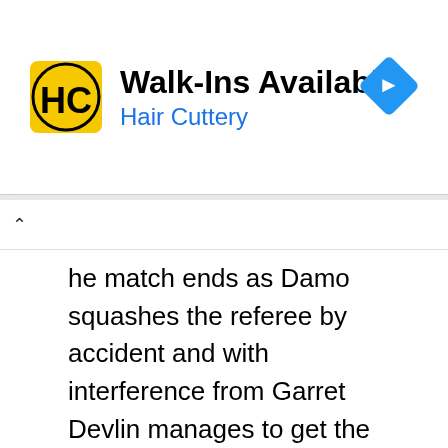[Figure (other): Hair Cuttery advertisement banner with yellow/black HC logo, text 'Walk-Ins Available' and 'Hair Cuttery' in blue, and a blue navigation diamond icon on the right]
he match ends as Damo squashes the referee by accident and with interference from Garret Devlin manages to get the win by low blow and a springboard DDT. Damo gets his revenge on Garrett before taking the mic. Damo says he’s proud of OTT and the crowd for making this happen in Ireland and is sad it wasn’t around when he was starting off . The crowd said goodbye to Damo who is also on his way to WWE. I was disappointed with this match live as I didn’t think Jordan looked